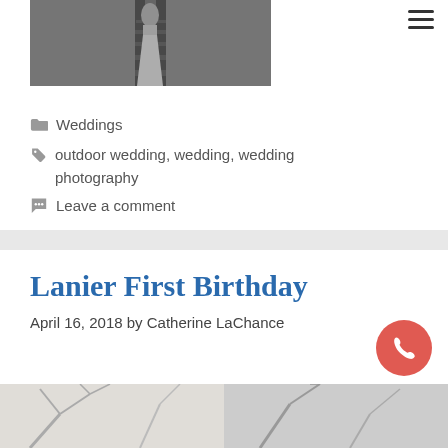[Figure (photo): Black and white photo of a wedding couple on railroad tracks, partially visible (cropped top)]
Weddings
outdoor wedding, wedding, wedding photography
Leave a comment
Lanier First Birthday
April 16, 2018 by Catherine LaChance
[Figure (photo): Outdoor nature/tree photo, partially visible at bottom (cropped)]